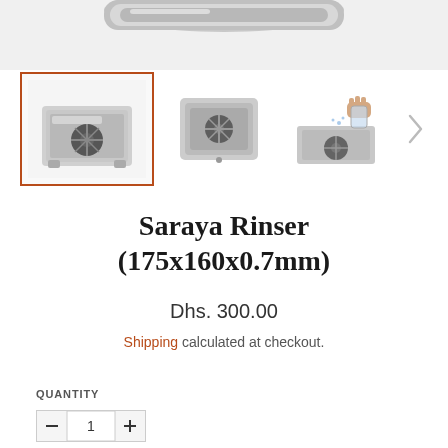[Figure (photo): Top portion of a stainless steel product visible at the very top of the page, cropped]
[Figure (photo): Three product thumbnail images of Saraya Rinser stainless steel basin. First thumbnail is selected with an orange/rust colored border. Second shows top-down view. Third shows a hand rinsing a glass. A right arrow navigation indicator is visible.]
Saraya Rinser (175x160x0.7mm)
Dhs. 300.00
Shipping calculated at checkout.
QUANTITY